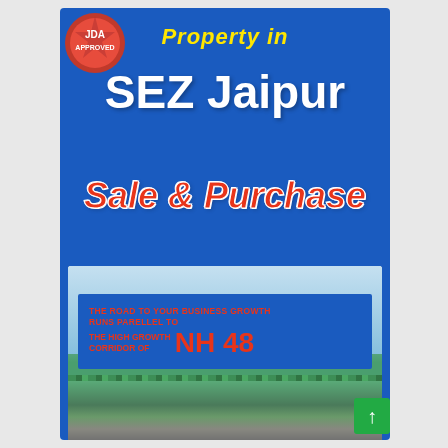[Figure (infographic): Real estate advertisement for property in SEZ Jaipur. Blue background with JDA Approved badge, text 'Property in', 'SEZ Jaipur', 'Sale & Purchase', and a photo of Mahindra World City highway billboard on NH 48.]
Property in SEZ Jaipur
Sale & Purchase
THE ROAD TO YOUR BUSINESS GROWTH RUNS PARELLEL TO THE HIGH GROWTH CORRIDOR OF NH 48
WELCOME TO mahindra WORLD CITY